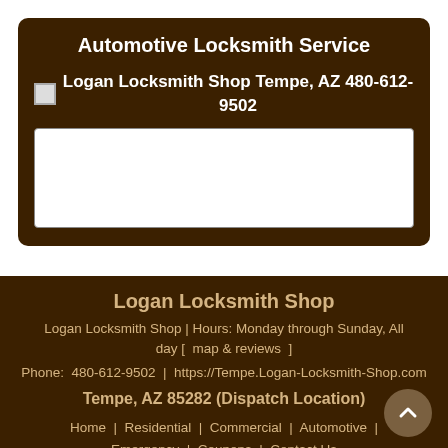Automotive Locksmith Service
[Figure (photo): Logan Locksmith Shop Tempe, AZ 480-612-9502 - image placeholder with white rectangle]
Logan Locksmith Shop
Logan Locksmith Shop | Hours: Monday through Sunday, All day [ map & reviews ]
Phone: 480-612-9502 | https://Tempe.Logan-Locksmith-Shop.com
Tempe, AZ 85282 (Dispatch Location)
Home | Residential | Commercial | Automotive | Emergency | Coupons | Contact Us